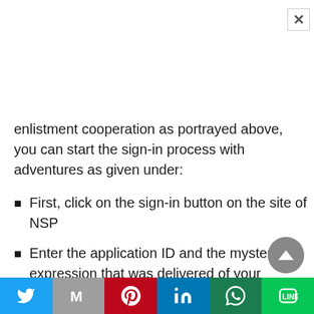enlistment cooperation as portrayed above, you can start the sign-in process with adventures as given under:
First, click on the sign-in button on the site of NSP
Enter the application ID and the mysterious expression that was delivered of your enrolled telephone number
At the point when you sign in, One Time